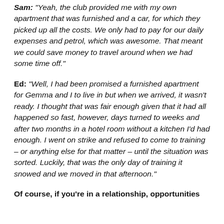Sam: "Yeah, the club provided me with my own apartment that was furnished and a car, for which they picked up all the costs. We only had to pay for our daily expenses and petrol, which was awesome. That meant we could save money to travel around when we had some time off."
Ed: "Well, I had been promised a furnished apartment for Gemma and I to live in but when we arrived, it wasn't ready. I thought that was fair enough given that it had all happened so fast, however, days turned to weeks and after two months in a hotel room without a kitchen I'd had enough. I went on strike and refused to come to training – or anything else for that matter – until the situation was sorted. Luckily, that was the only day of training it snowed and we moved in that afternoon."
Of course, if you're in a relationship, opportunities